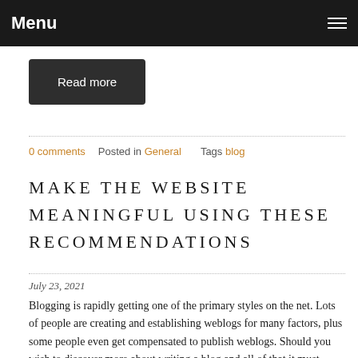Menu
Read more
0 comments   Posted in General   Tags blog
MAKE THE WEBSITE MEANINGFUL USING THESE RECOMMENDATIONS
July 23, 2021
Blogging is rapidly getting one of the primary styles on the net. Lots of people are creating and establishing weblogs for many factors, plus some people even get compensated to publish weblogs. Should you wish to discover more about writing a blog and all of that it must supply, then keep reading.